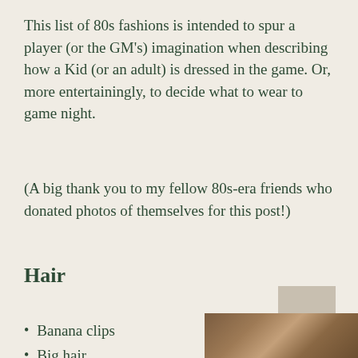This list of 80s fashions is intended to spur a player (or the GM's) imagination when describing how a Kid (or an adult) is dressed in the game. Or, more entertainingly, to decide what to wear to game night.
(A big thank you to my fellow 80s-era friends who donated photos of themselves for this post!)
Hair
[Figure (photo): A partial photograph showing what appears to be hair, brown tones, partially visible at the bottom right of the page]
Banana clips
Big hair